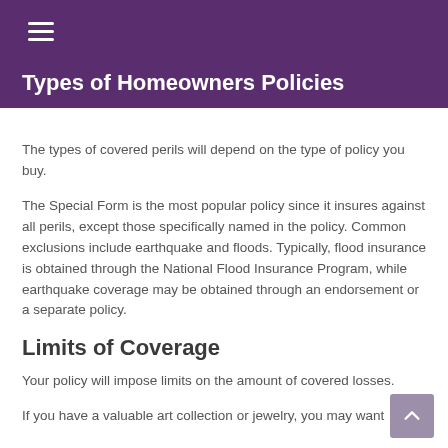Types of Homeowners Policies
The types of covered perils will depend on the type of policy you buy.
The Special Form is the most popular policy since it insures against all perils, except those specifically named in the policy. Common exclusions include earthquake and floods. Typically, flood insurance is obtained through the National Flood Insurance Program, while earthquake coverage may be obtained through an endorsement or a separate policy.
Limits of Coverage
Your policy will impose limits on the amount of covered losses.
If you have a valuable art collection or jewelry, you may want